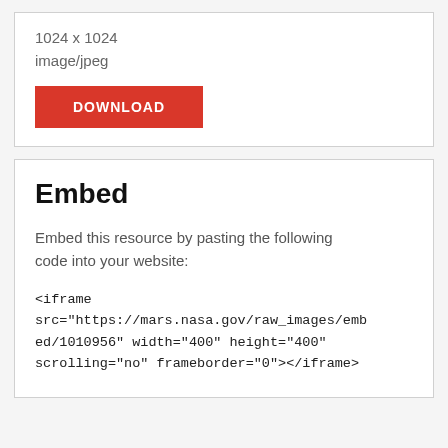1024 x 1024
image/jpeg
DOWNLOAD
Embed
Embed this resource by pasting the following code into your website:
<iframe src="https://mars.nasa.gov/raw_images/embed/1010956" width="400" height="400" scrolling="no" frameborder="0"></iframe>